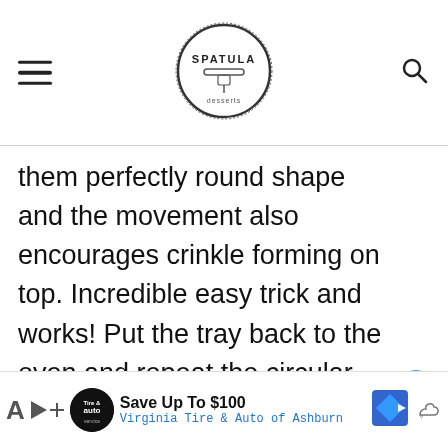SPATULA desserts
them perfectly round shape and the movement also encourages crinkle forming on top. Incredible easy trick and works! Put the tray back to the oven and repeat the circular movement at the end of the baking time, if necessary.
[Figure (logo): Spatula desserts logo circle with spatula icon]
WHAT'S NEXT → Easter Egg Cookies
[Figure (infographic): Advertisement banner: Save Up To $100 Virginia Tire & Auto of Ashburn]